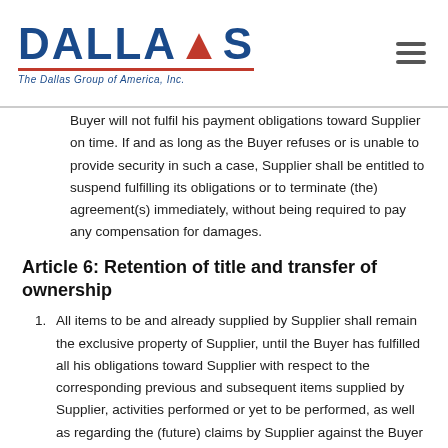DALLAS — The Dallas Group of America, Inc.
Buyer will not fulfil his payment obligations toward Supplier on time. If and as long as the Buyer refuses or is unable to provide security in such a case, Supplier shall be entitled to suspend fulfilling its obligations or to terminate (the) agreement(s) immediately, without being required to pay any compensation for damages.
Article 6: Retention of title and transfer of ownership
All items to be and already supplied by Supplier shall remain the exclusive property of Supplier, until the Buyer has fulfilled all his obligations toward Supplier with respect to the corresponding previous and subsequent items supplied by Supplier, activities performed or yet to be performed, as well as regarding the (future) claims by Supplier against the Buyer due to (future) failure by the